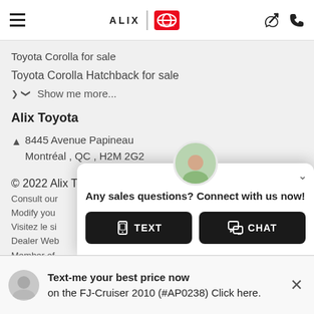ALIX TOYOTA
Toyota Corolla for sale
Toyota Corolla Hatchback for sale
Show me more...
Alix Toyota
8445 Avenue Papineau
Montréal , QC , H2M 2G2
© 2022 Alix Toyota. All rights reserved.
Consult our terms and conditions of your visit.
Modify your cookie preferences.
Visitez le site en Français.
Dealer Website by D2C Media.
Member of TADA.
[Figure (screenshot): Chat popup overlay with agent avatar, text 'Any sales questions? Connect with us now!' and two buttons: TEXT and CHAT]
The Toyota name, logos, slogans, product names and images and...
Text-me your best price now on the FJ-Cruiser 2010 (#AP0238) Click here.